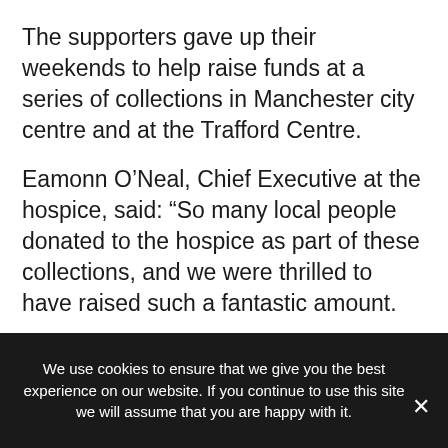The supporters gave up their weekends to help raise funds at a series of collections in Manchester city centre and at the Trafford Centre.
Eamonn O'Neal, Chief Executive at the hospice, said: “So many local people donated to the hospice as part of these collections, and we were thrilled to have raised such a fantastic amount.
“We couldn’t have done it without the support of the selfless volunteers who gave their time to
We use cookies to ensure that we give you the best experience on our website. If you continue to use this site we will assume that you are happy with it.